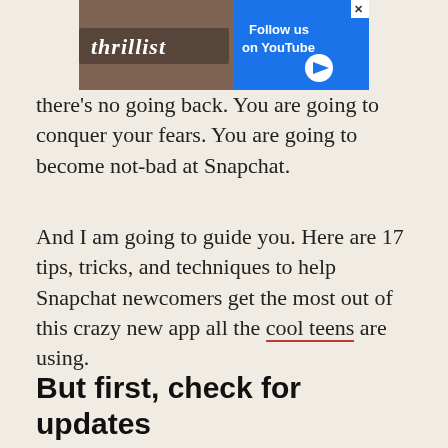[Figure (other): Thrillist advertisement banner with 'Follow us on YouTube' call to action and play button, showing a person in background]
there's no going back. You are going to conquer your fears. You are going to become not-bad at Snapchat.
And I am going to guide you. Here are 17 tips, tricks, and techniques to help Snapchat newcomers get the most out of this crazy new app all the cool teens are using.
But first, check for updates
As a relatively young platform, Snapchat is constantly smoothing out bugs and adding new features. Always make sure you're using the most up-to-date version of the software. If you're not, hit